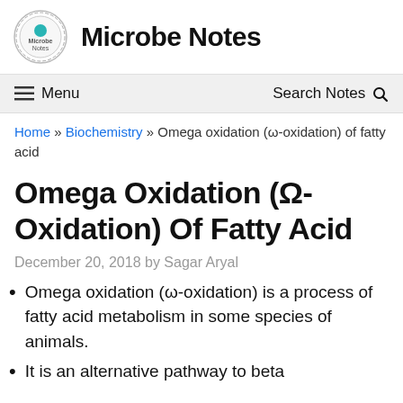Microbe Notes
Menu  Search Notes
Home » Biochemistry » Omega oxidation (ω-oxidation) of fatty acid
Omega Oxidation (Ω-Oxidation) Of Fatty Acid
December 20, 2018 by Sagar Aryal
Omega oxidation (ω-oxidation) is a process of fatty acid metabolism in some species of animals.
It is an alternative pathway to beta